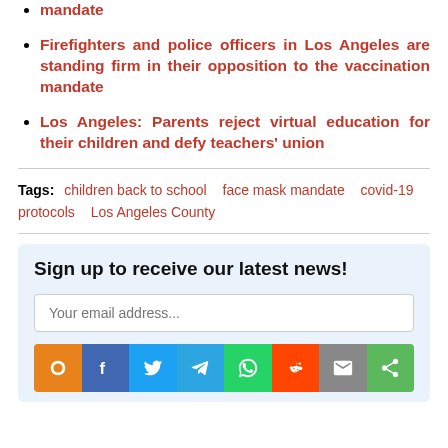mandate
Firefighters and police officers in Los Angeles are standing firm in their opposition to the vaccination mandate
Los Angeles: Parents reject virtual education for their children and defy teachers' union
Tags: children back to school   face mask mandate   covid-19 protocols   Los Angeles County
Sign up to receive our latest news!